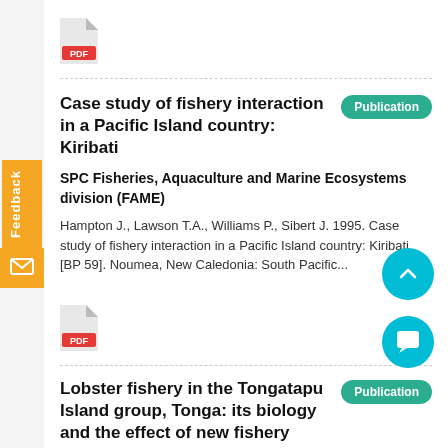[Figure (illustration): PDF file icon]
Case study of fishery interaction in a Pacific Island country: Kiribati
Publication
SPC Fisheries, Aquaculture and Marine Ecosystems division (FAME)
Hampton J., Lawson T.A., Williams P., Sibert J. 1995. Case study of fishery interaction in a Pacific Island country: Kiribati [BP 59]. Noumea, New Caledonia: South Pacific...
[Figure (illustration): PDF file icon]
Lobster fishery in the Tongatapu Island group, Tonga: its biology and the effect of new fishery regulation
Publication
SPC Fisheries, Aquaculture and Marine Ecosystems division (FAME)